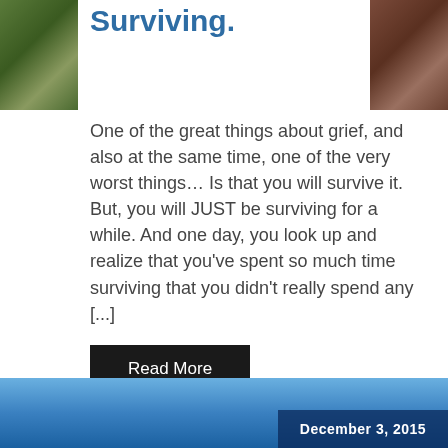[Figure (photo): Small thumbnail photo on the left side showing mossy green plants/nature scene]
Surviving.
[Figure (photo): Small thumbnail photo on the right side showing a reddish-brown nature/rock scene]
One of the great things about grief, and also at the same time, one of the very worst things… Is that you will survive it. But, you will JUST be surviving for a while. And one day, you look up and realize that you've spent so much time surviving that you didn't really spend any [...]
Read More
[Figure (photo): Bottom banner showing a blue sky mountain scene with a date label 'December 3, 2015']
December 3, 2015